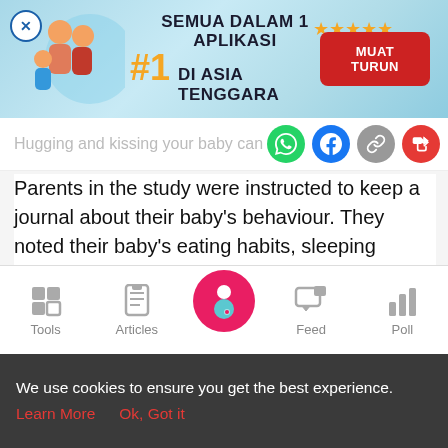[Figure (screenshot): Mobile app advertisement banner with teal/blue background. Shows family illustration on left, text 'SEMUA DALAM 1 APLIKASI #1 DI ASIA TENGGARA' in center, star rating and red 'MUAT TURUN' button on right. Close button (X) in top left corner.]
Hugging and kissing your baby can m
Parents in the study were instructed to keep a journal about their baby's behaviour. They noted their baby's eating habits, sleeping patterns and even their crying. They also revealed exactly how often they physically consoled their baby.
After four years, the scientists checked the babies' DNAs by
[Figure (screenshot): Mobile app bottom navigation bar with icons for Tools, Articles, a central pink circle with pregnant woman icon, Feed, and Poll.]
We use cookies to ensure you get the best experience. Learn More   Ok, Got it